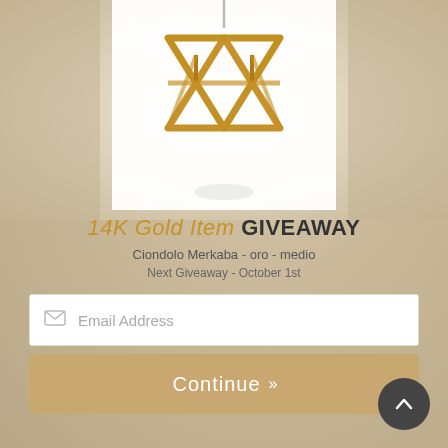[Figure (photo): Gold Merkaba star tetrahedron pendant necklace on a white background]
14K Gold Item GIVEAWAY
Ciondolo Merkaba - oro - medio
Next Giveaway - October 1st
Email Address
Continue »